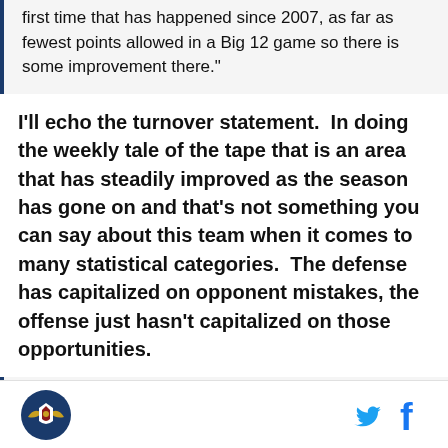first time that has happened since 2007, as far as fewest points allowed in a Big 12 game so there is some improvement there."
I'll echo the turnover statement. In doing the weekly tale of the tape that is an area that has steadily improved as the season has gone on and that's not something you can say about this team when it comes to many statistical categories. The defense has capitalized on opponent mistakes, the offense just hasn't capitalized on those opportunities.
"Offensively, I thought we moved the ball well between the 25 and the 25. The one stat that we